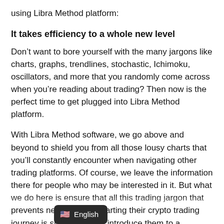using Libra Method platform:
It takes efficiency to a whole new level
Don’t want to bore yourself with the many jargons like charts, graphs, trendlines, stochastic, Ichimoku, oscillators, and more that you randomly come across when you’re reading about trading? Then now is the perfect time to get plugged into Libra Method platform.
With Libra Method software, we go above and beyond to shield you from all those lousy charts that you’ll constantly encounter when navigating other trading platforms. Of course, we leave the information there for people who may be interested in it. But what we do here is ensure that all this trading jargon that prevents newbies from starting their crypto trading journey is sidestepped to introduce them to a profitable space
[Figure (other): Language selector pill overlay showing US flag emoji and 'English' text on dark rounded rectangle background]